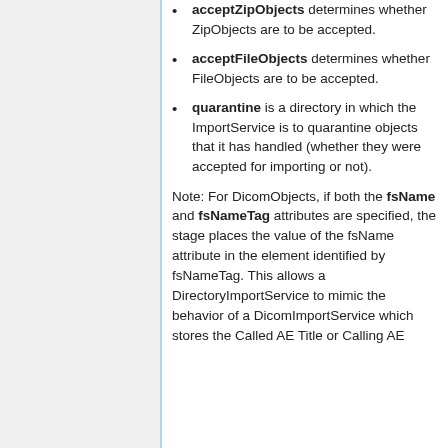acceptZipObjects determines whether ZipObjects are to be accepted.
acceptFileObjects determines whether FileObjects are to be accepted.
quarantine is a directory in which the ImportService is to quarantine objects that it has handled (whether they were accepted for importing or not).
Note: For DicomObjects, if both the fsName and fsNameTag attributes are specified, the stage places the value of the fsName attribute in the element identified by fsNameTag. This allows a DirectoryImportService to mimic the behavior of a DicomImportService which stores the Called AE Title or Calling AE